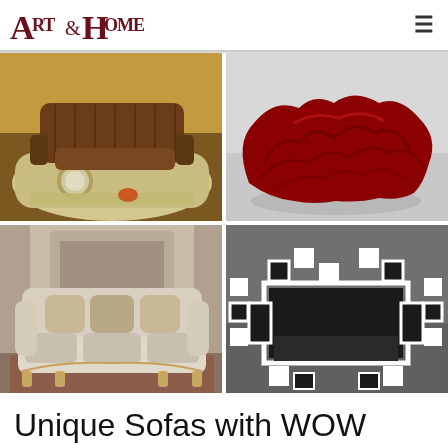Art & Home
[Figure (photo): Four-image collage of unique sofas: top-left shows a sofa made from a vintage car body with leather seat; top-right shows a sculptural dark red crumpled/rocky shaped sofa; bottom-left shows an ornate baroque-style silver/cream sofa with decorative wooden frame in a classical interior; bottom-right shows a pixel art / Space Invader shaped sofa in black and white.]
Unique Sofas with WOW Factor